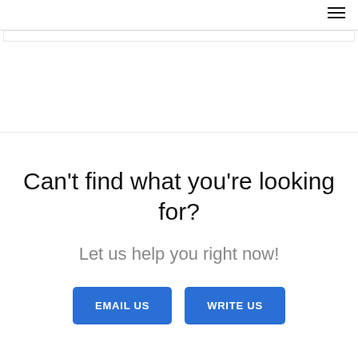Can't find what you're looking for?
Let us help you right now!
EMAIL US   WRITE US